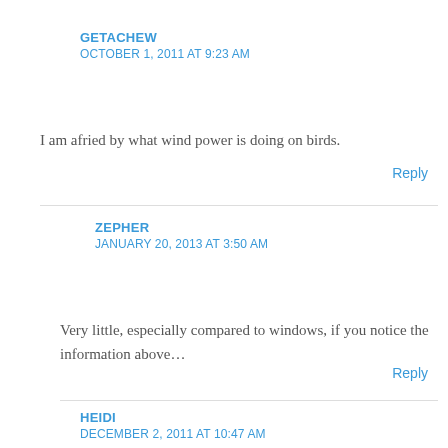GETACHEW
OCTOBER 1, 2011 AT 9:23 AM
I am afried by what wind power is doing on birds.
Reply
ZEPHER
JANUARY 20, 2013 AT 3:50 AM
Very little, especially compared to windows, if you notice the information above…
Reply
HEIDI
DECEMBER 2, 2011 AT 10:47 AM